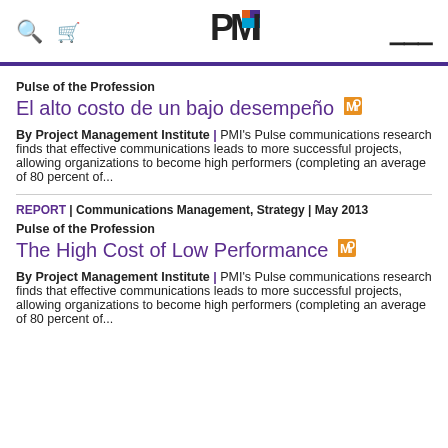PMI logo, search, cart, hamburger menu
Pulse of the Profession
El alto costo de un bajo desempeño
By Project Management Institute | PMI's Pulse communications research finds that effective communications leads to more successful projects, allowing organizations to become high performers (completing an average of 80 percent of...
REPORT | Communications Management, Strategy | May 2013
Pulse of the Profession
The High Cost of Low Performance
By Project Management Institute | PMI's Pulse communications research finds that effective communications leads to more successful projects, allowing organizations to become high performers (completing an average of 80 percent of...